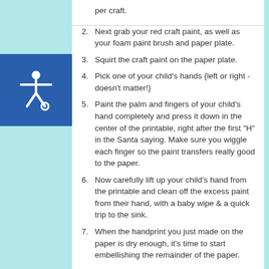per craft.
Next grab your red craft paint, as well as your foam paint brush and paper plate.
Squirt the craft paint on the paper plate.
Pick one of your child's hands {left or right - doesn't matter!}
Paint the palm and fingers of your child's hand completely and press it down in the center of the printable, right after the first "H" in the Santa saying. Make sure you wiggle each finger so the paint transfers really good to the paper.
Now carefully lift up your child's hand from the printable and clean off the excess paint from their hand, with a baby wipe & a quick trip to the sink.
When the handprint you just made on the paper is dry enough, it's time to start embellishing the remainder of the paper.
Go ahead and first color in the face of the Santa design in the printable.
Next up - cut out a small triangle hat from the red cardstock paper and glue it on top of Santa's head in the printable.